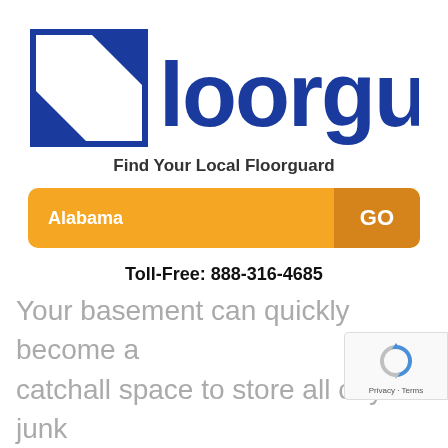[Figure (logo): Floorguard logo with blue double-arrow icon and bold blue text 'floorguard']
Find Your Local Floorguard
[Figure (other): Orange search bar showing 'Alabama' with darker orange 'GO' button on right]
Toll-Free: 888-316-4685
Your basement can quickly become a catchall space to store all of your junk
[Figure (other): reCAPTCHA badge with spinning arrow icon and Privacy · Terms label]